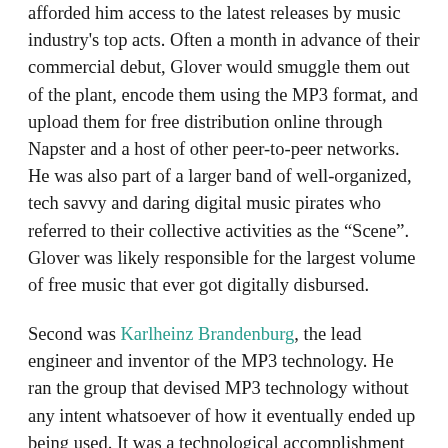afforded him access to the latest releases by music industry's top acts. Often a month in advance of their commercial debut, Glover would smuggle them out of the plant, encode them using the MP3 format, and upload them for free distribution online through Napster and a host of other peer-to-peer networks. He was also part of a larger band of well-organized, tech savvy and daring digital music pirates who referred to their collective activities as the “Scene”. Glover was likely responsible for the largest volume of free music that ever got digitally disbursed.
Second was Karlheinz Brandenburg, the lead engineer and inventor of the MP3 technology. He ran the group that devised MP3 technology without any intent whatsoever of how it eventually ended up being used. It was a technological accomplishment that at first drew little attention in the audio industry. There were other competing compression formats that were gaining more traction in the marketplace. Nonetheless, through perseverance, superior technical skills